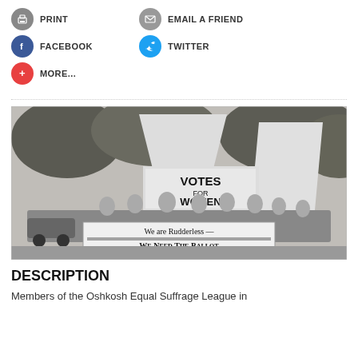PRINT
EMAIL A FRIEND
FACEBOOK
TWITTER
MORE...
[Figure (photo): Black and white photograph of members of the Oshkosh Equal Suffrage League on a parade float. A large banner reads 'VOTES FOR WOMEN' and another reads 'We are Rudderless — We Need The Ballot'. Women are seated on the float, with trees visible in the background.]
DESCRIPTION
Members of the Oshkosh Equal Suffrage League in